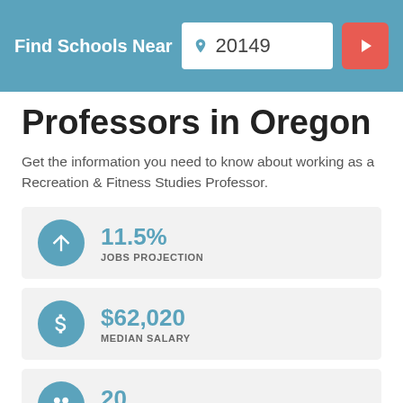Find Schools Near 20149
Professors in Oregon
Get the information you need to know about working as a Recreation & Fitness Studies Professor.
11.5%
JOBS PROJECTION
$62,020
MEDIAN SALARY
20
JOB OPENINGS
How to land a job as a Recreation and Fitness Studies...